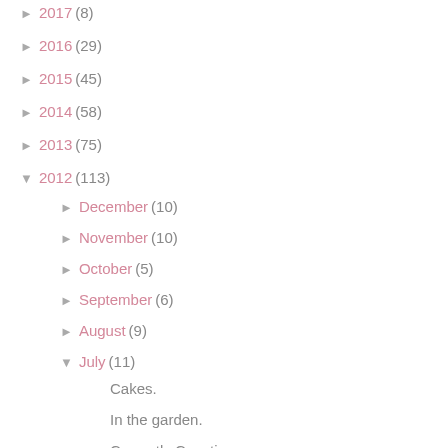► 2017 (8)
► 2016 (29)
► 2015 (45)
► 2014 (58)
► 2013 (75)
▼ 2012 (113)
► December (10)
► November (10)
► October (5)
► September (6)
► August (9)
▼ July (11)
Cakes.
In the garden.
Currently Coveting.
Cassius it's over you're second best.
Sky Ride Manchester.